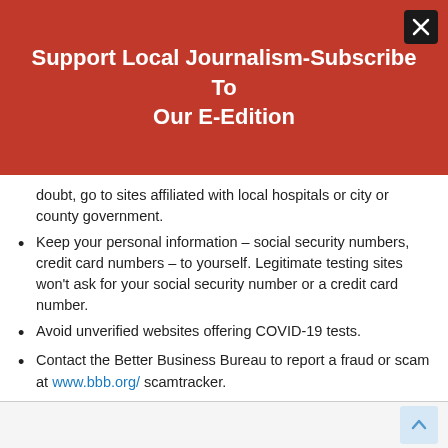Support Local Journalism-Subscribe To Our E-Edition
doubt, go to sites affiliated with local hospitals or city or county government.
Keep your personal information – social security numbers, credit card numbers – to yourself. Legitimate testing sites won't ask for your social security number or a credit card number.
Avoid unverified websites offering COVID-19 tests.
Contact the Better Business Bureau to report a fraud or scam at www.bbb.org/ scamtracker.